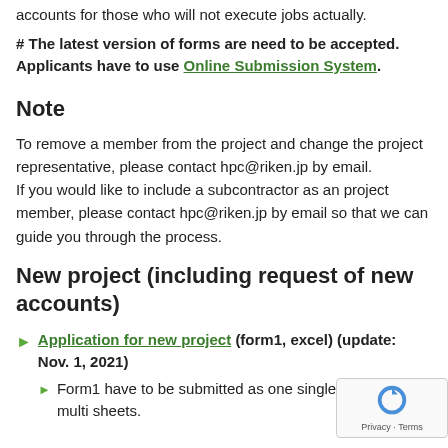accounts for those who will not execute jobs actually.
# The latest version of forms are need to be accepted. Applicants have to use Online Submission System.
Note
To remove a member from the project and change the project representative, please contact hpc@riken.jp by email.
If you would like to include a subcontractor as an project member, please contact hpc@riken.jp by email so that we can guide you through the process.
New project (including request of new accounts)
Application for new project (form1, excel) (update: Nov. 1, 2021)
Form1 have to be submitted as one single file with multi sheets.